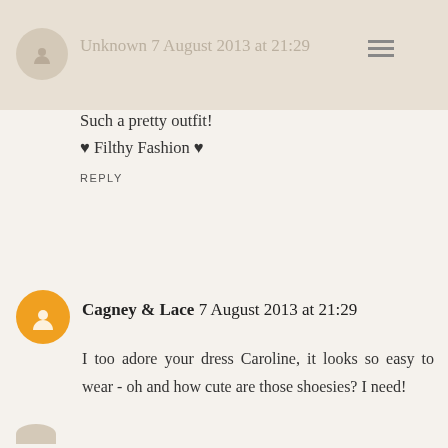Unknown 7 August 2013 at 21:29
Such a pretty outfit!
♥ Filthy Fashion ♥
REPLY
Cagney & Lace 7 August 2013 at 21:29
I too adore your dress Caroline, it looks so easy to wear - oh and how cute are those shoesies? I need!
Hannah
REPLY